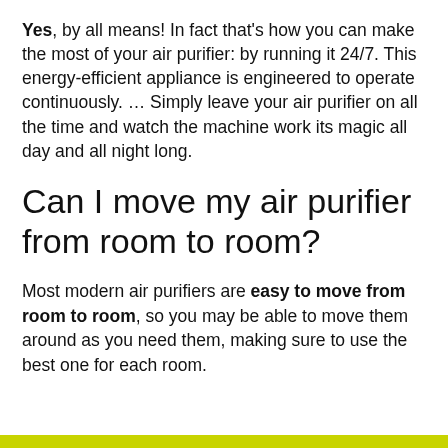Yes, by all means! In fact that's how you can make the most of your air purifier: by running it 24/7. This energy-efficient appliance is engineered to operate continuously. … Simply leave your air purifier on all the time and watch the machine work its magic all day and all night long.
Can I move my air purifier from room to room?
Most modern air purifiers are easy to move from room to room, so you may be able to move them around as you need them, making sure to use the best one for each room.
[Figure (other): Yellow-green decorative horizontal bar at the bottom of the page]